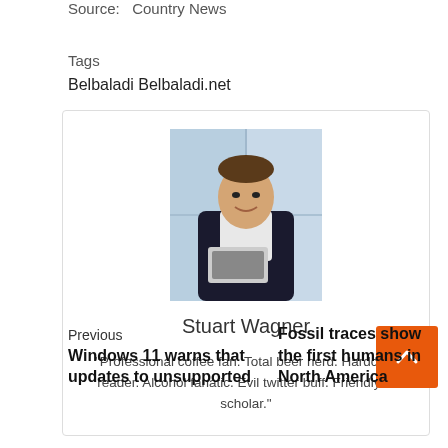Source:   Country News
Tags
Belbaladi Belbaladi.net
[Figure (photo): Author card with photo of Stuart Wagner, a man in a dark suit holding a laptop, smiling, in front of large windows. Below the photo is his name 'Stuart Wagner' and a bio quote.]
Previous
Windows 11 warns that updates to unsupported
Fossil traces show the first humans in North America